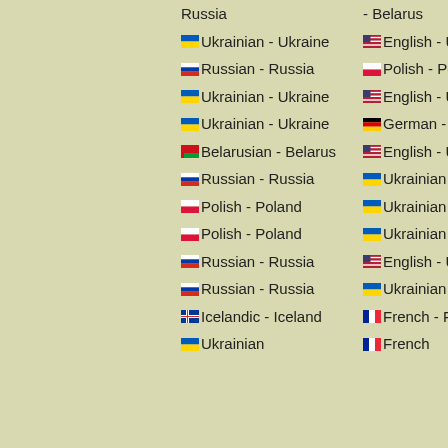| Language 1 | Language 2 | Title |
| --- | --- | --- |
| Russia | - Belarus |  |
| 🇺🇦 Ukrainian - Ukraine | 🇺🇸 English - USA | Canyon Diab |
| 🇷🇺 Russian - Russia | 🇵🇱 Polish - Poland | OK Go |
| 🇺🇦 Ukrainian - Ukraine | 🇺🇸 English - USA | Chrysiogenes arsenatis |
| 🇺🇦 Ukrainian - Ukraine | 🇩🇪 German - Germany | Дар |
| 🇧🇾 Belarusian - Belarus | 🇺🇸 English - USA | Узгорак |
| 🇷🇺 Russian - Russia | 🇺🇦 Ukrainian - Ukraine | Событие |
| 🇵🇱 Polish - Poland | 🇺🇦 Ukrainian - Ukraine | Spełnienie |
| 🇵🇱 Polish - Poland | 🇺🇦 Ukrainian - Ukraine | Namiętny |
| 🇷🇺 Russian - Russia | 🇺🇸 English - USA | Задумчивый |
| 🇷🇺 Russian - Russia | 🇺🇦 Ukrainian - Ukraine | Собственно |
| 🇮🇸 Icelandic - Iceland | 🇫🇷 French - France | Gott kvöld |
| 🇺🇦 Ukrainian | 🇫🇷 French | Добрий ден |